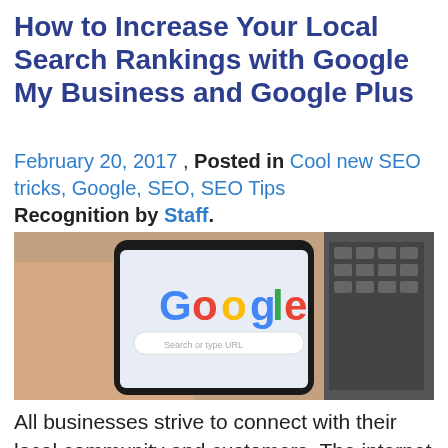How to Increase Your Local Search Rankings with Google My Business and Google Plus
February 20, 2017 , Posted in Cool new SEO tricks, Google, SEO, SEO Tips Recognition by Staff.
[Figure (photo): A hand holding a smartphone displaying the Google search page with the Google logo visible on screen.]
All businesses strive to connect with their local community and customers. The internet has created a landscape for businesses to showcase their offerings and closely understand their most loyal customers. Local search engine optimization (SEO) is one of the digital age's